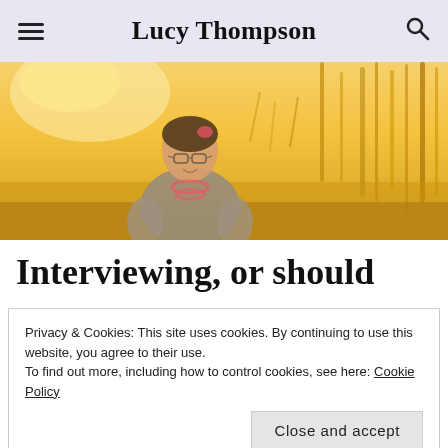Lucy Thompson
[Figure (photo): Woman with glasses and pink hair accessory, wearing a grey blazer and pink beaded necklace, smiling in a golden field of tall grass]
Interviewing, or should
Privacy & Cookies: This site uses cookies. By continuing to use this website, you agree to their use.
To find out more, including how to control cookies, see here: Cookie Policy
Close and accept